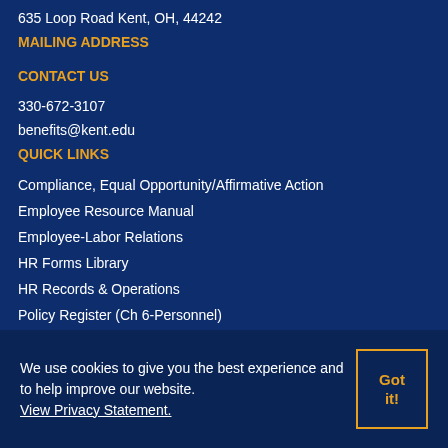635 Loop Road Kent, OH, 44242
MAILING ADDRESS
CONTACT US
330-672-3107
benefits@kent.edu
QUICK LINKS
Compliance, Equal Opportunity/Affirmative Action
Employee Resource Manual
Employee-Labor Relations
HR Forms Library
HR Records & Operations
Policy Register (Ch 6-Personnel)
We use cookies to give you the best experience and to help improve our website. View Privacy Statement.